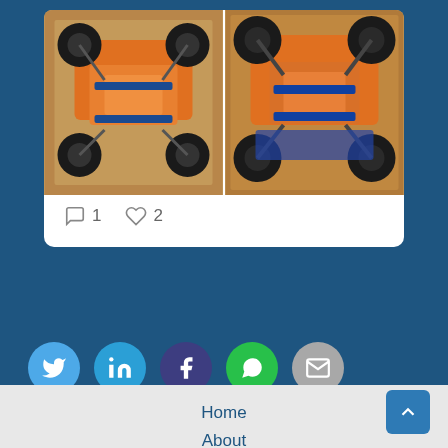[Figure (photo): Two photos of orange RC buggy cars upside down on a wooden floor surface, side by side in a white card]
1  2
[Figure (infographic): Social sharing buttons: Twitter (blue), LinkedIn (blue), Facebook (dark purple), WhatsApp (green), Email (gray)]
Home
About
Azure
Donate